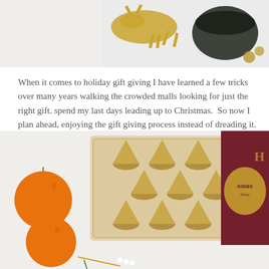[Figure (photo): Top portion of a photo showing gold decorative items, dark bowl, and small ornaments on a light surface]
When it comes to holiday gift giving I have learned a few tricks over many years walking the crowded malls looking for just the right gift. spend my last days leading up to Christmas.  So now I plan ahead, enjoying the gift giving process instead of dreading it.
[Figure (photo): Photo of Hershey's Kisses Deluxe chocolates in gold foil in a clear tray, alongside oranges/clementines and the Hershey's Kisses Deluxe box on a white marble surface]